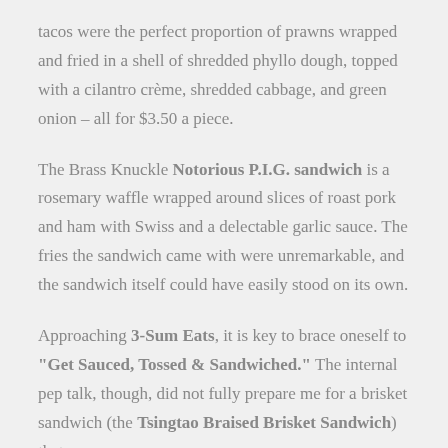tacos were the perfect proportion of prawns wrapped and fried in a shell of shredded phyllo dough, topped with a cilantro crème, shredded cabbage, and green onion – all for $3.50 a piece.
The Brass Knuckle Notorious P.I.G. sandwich is a rosemary waffle wrapped around slices of roast pork and ham with Swiss and a delectable garlic sauce. The fries the sandwich came with were unremarkable, and the sandwich itself could have easily stood on its own.
Approaching 3-Sum Eats, it is key to brace oneself to "Get Sauced, Tossed & Sandwiched." The internal pep talk, though, did not fully prepare me for a brisket sandwich (the Tsingtao Braised Brisket Sandwich) that